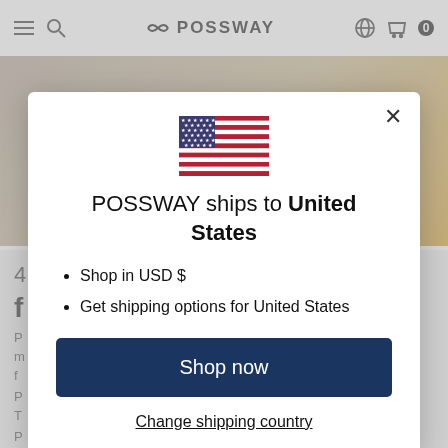POSSWAY
[Figure (screenshot): Modal dialog overlay on POSSWAY e-commerce website showing US flag, shipping destination message, list items, Shop now button, and Change shipping country link]
POSSWAY ships to United States
Shop in USD $
Get shipping options for United States
Shop now
Change shipping country
and so on, how wonderful those things are!
5. Super friendly to the environment